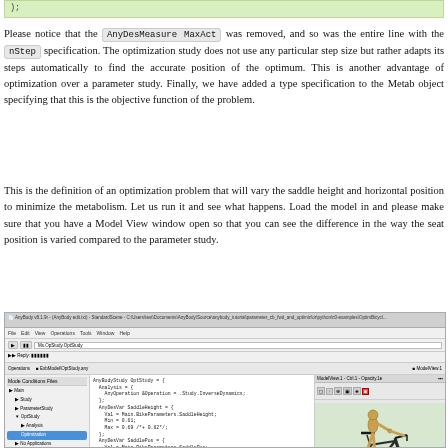[Figure (screenshot): Code snippet at top showing partial line of code in a green-tinted box]
Please notice that the AnyDesMeasure MaxAct was removed, and so was the entire line with the nStep specification. The optimization study does not use any particular step size but rather adapts its steps automatically to find the accurate position of the optimum. This is another advantage of optimization over a parameter study. Finally, we have added a type specification to the Metab object specifying that this is the objective function of the problem.
This is the definition of an optimization problem that will vary the saddle height and horizontal position to minimize the metabolism. Let us run it and see what happens. Load the model in and please make sure that you have a Model View window open so that you can see the difference in the way the seat position is varied compared to the parameter study.
[Figure (screenshot): AnyBody Modeling System IDE screenshot showing optimization study code on left panel and a 3D bicycle model with human figure on right panel]